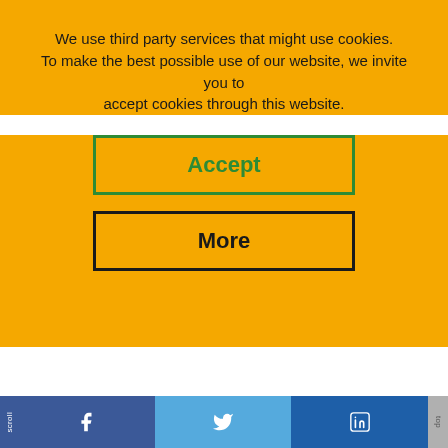We use third party services that might use cookies. To make the best possible use of our website, we invite you to accept cookies through this website.
[Figure (screenshot): Accept button with green border on yellow background]
[Figure (screenshot): More button with black border on yellow background]
/ Energy & Climate / Renewables / What is the age of the hydropower captain?
RENEWABLES
[Figure (screenshot): Bottom social media bar with Facebook, Twitter, LinkedIn buttons]